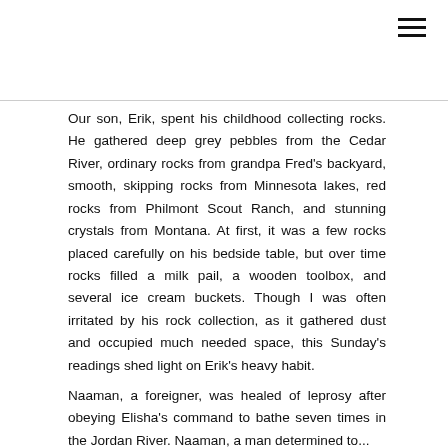Our son, Erik, spent his childhood collecting rocks. He gathered deep grey pebbles from the Cedar River, ordinary rocks from grandpa Fred's backyard, smooth, skipping rocks from Minnesota lakes, red rocks from Philmont Scout Ranch, and stunning crystals from Montana. At first, it was a few rocks placed carefully on his bedside table, but over time rocks filled a milk pail, a wooden toolbox, and several ice cream buckets. Though I was often irritated by his rock collection, as it gathered dust and occupied much needed space, this Sunday's readings shed light on Erik's heavy habit.
Naaman, a foreigner, was healed of leprosy after obeying Elisha's command to bathe seven times in the Jordan River. Naaman, a man determined to...